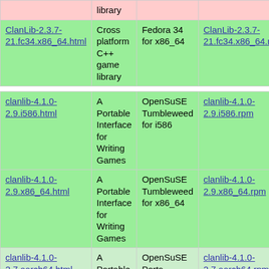| Link | Description | Distribution | Download |
| --- | --- | --- | --- |
|  | library |  |  |
| ClanLib-2.3.7-21.fc34.x86_64.html | Cross platform C++ game library | Fedora 34 for x86_64 | ClanLib-2.3.7-21.fc34.x86_64.rpm |
| clanlib-4.1.0-2.9.i586.html | A Portable Interface for Writing Games | OpenSuSE Tumbleweed for i586 | clanlib-4.1.0-2.9.i586.rpm |
| clanlib-4.1.0-2.9.x86_64.html | A Portable Interface for Writing Games | OpenSuSE Tumbleweed for x86_64 | clanlib-4.1.0-2.9.x86_64.rpm |
| clanlib-4.1.0-2.7.aarch64.html | A Portable Interface for Writing Games | OpenSuSE Ports Tumbleweed for aarch64 | clanlib-4.1.0-2.7.aarch64.rpm |